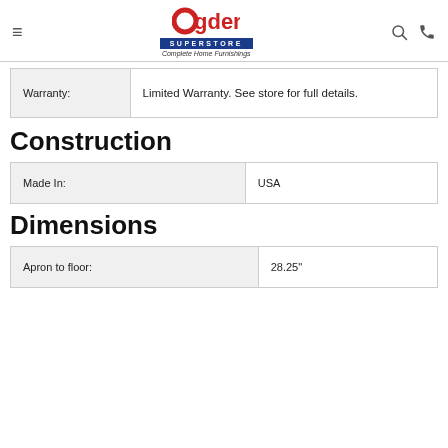Ogden's Superstore – Complete Home Furnishings
| Warranty: |  |
| --- | --- |
| Warranty: | Limited Warranty. See store for full details. |
Construction
| Made In: | USA |
| --- | --- |
| Made In: | USA |
Dimensions
| Apron to floor: | 28.25" |
| --- | --- |
| Apron to floor: | 28.25" |